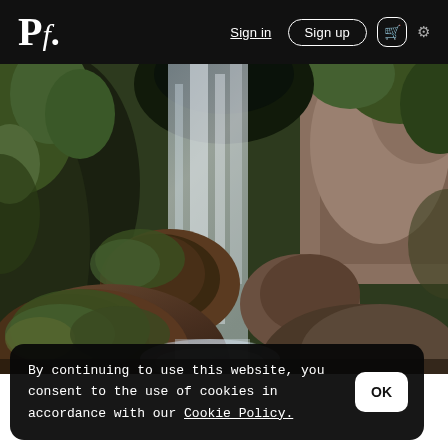Pf. | Sign in | Sign up | [cart] | [settings]
[Figure (photo): A waterfall cascading over moss-covered rocks surrounded by green foliage and rocky cliffs]
By continuing to use this website, you consent to the use of cookies in accordance with our Cookie Policy.